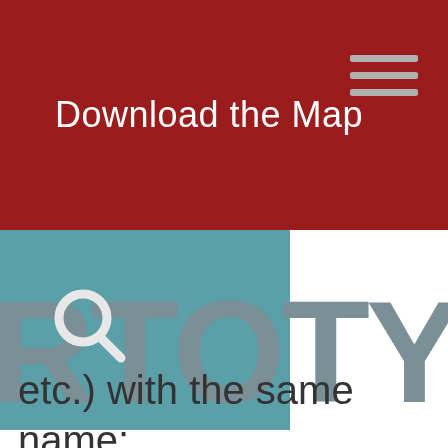Download the Map
[Figure (logo): RTOTY logo with teal background square, magnifying glass icon, and large grey letters RTOTY]
etc.) with the same name: